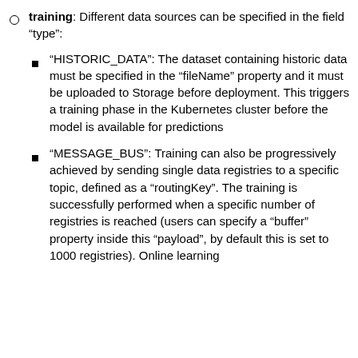training: Different data sources can be specified in the field “type”:
“HISTORIC_DATA”: The dataset containing historic data must be specified in the “fileName” property and it must be uploaded to Storage before deployment. This triggers a training phase in the Kubernetes cluster before the model is available for predictions
“MESSAGE_BUS”: Training can also be progressively achieved by sending single data registries to a specific topic, defined as a “routingKey”. The training is successfully performed when a specific number of registries is reached (users can specify a “buffer” property inside this “payload”, by default this is set to 1000 registries). Online learning